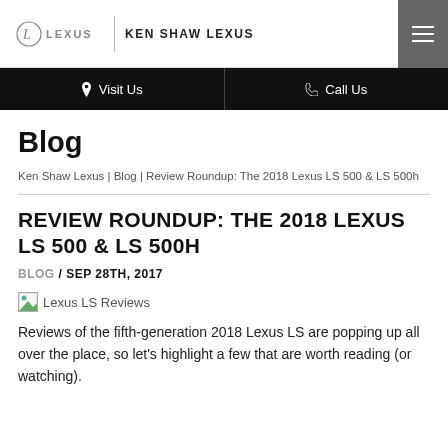KEN SHAW LEXUS
Visit Us | Call Us
Blog
Ken Shaw Lexus | Blog | Review Roundup: The 2018 Lexus LS 500 & LS 500h
REVIEW ROUNDUP: THE 2018 LEXUS LS 500 & LS 500H
BLOG / SEP 28TH, 2017
[Figure (photo): Lexus LS Reviews image placeholder]
Reviews of the fifth-generation 2018 Lexus LS are popping up all over the place, so let’s highlight a few that are worth reading (or watching).